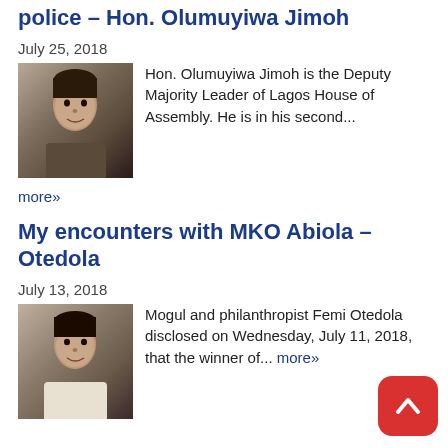I am full support of State police – Hon. Olumuyiwa Jimoh
July 25, 2018
[Figure (photo): Photo of Hon. Olumuyiwa Jimoh]
Hon. Olumuyiwa Jimoh is the Deputy Majority Leader of Lagos House of Assembly. He is in his second...
more»
My encounters with MKO Abiola – Otedola
July 13, 2018
[Figure (photo): Photo of Femi Otedola]
Mogul and philanthropist Femi Otedola disclosed on Wednesday, July 11, 2018, that the winner of... more»